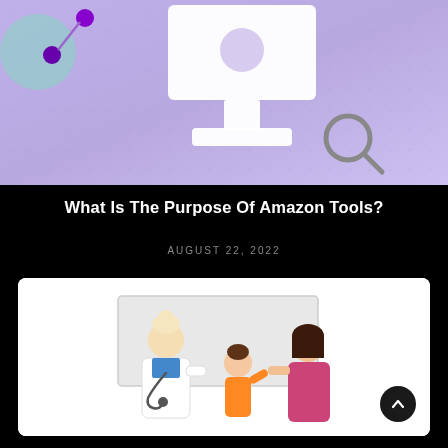[Figure (illustration): Purple/lavender background illustration of a computer monitor with a magnifying glass search icon, teal circle and purple dots on the left side with connector lines]
What Is The Purpose Of Amazon Tools?
AUGUST 22, 2022
[Figure (illustration): White card with illustration of a doctor/nurse in white coat with stethoscope examining a child while a parent looks on, in a medical office setting]